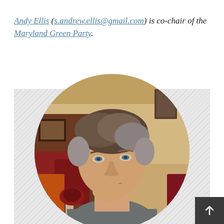Andy Ellis (s.andrew.ellis@gmail.com) is co-chair of the Maryland Green Party.
[Figure (photo): Circular cropped portrait photo of Andy Ellis, a middle-aged man with gray-brown hair, resting his chin on his hand, seated in what appears to be a restaurant setting.]